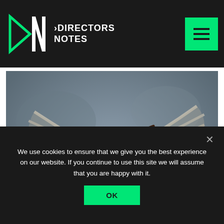DIRECTORS NOTES
[Figure (photo): A hummingbird with red head and purple/iridescent body, wings spread wide in flight, against a grey blurred background. Text overlay reads 'RSSF2011: Shorts']
RSSF2011: Shorts
We use cookies to ensure that we give you the best experience on our website. If you continue to use this site we will assume that you are happy with it.